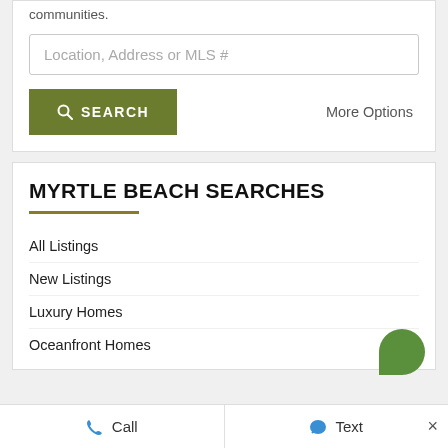communities.
Location, Address or MLS #
SEARCH
More Options
MYRTLE BEACH SEARCHES
All Listings
New Listings
Luxury Homes
Oceanfront Homes
Call   Text   ×